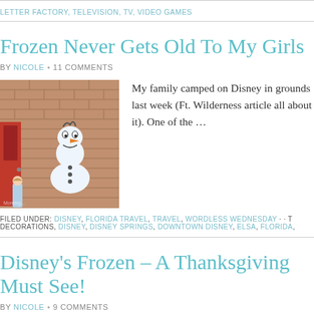LETTER FACTORY, TELEVISION, TV, VIDEO GAMES
Frozen Never Gets Old To My Girls
BY NICOLE • 11 COMMENTS
[Figure (photo): A young girl standing in front of a brick wall mural of Olaf from the Disney movie Frozen, with a red door visible on the left.]
My family camped on Disney in grounds last week (Ft. Wilderness article all about it). One of the …
FILED UNDER: DISNEY, FLORIDA TRAVEL, TRAVEL, WORDLESS WEDNESDAY · · T DECORATIONS, DISNEY, DISNEY SPRINGS, DOWNTOWN DISNEY, ELSA, FLORIDA,
Disney's Frozen – A Thanksgiving Must See!
BY NICOLE • 9 COMMENTS
[Figure (photo): Partial image from the Disney Frozen movie, showing icy/blue scene.]
Thank you to Disney and their PR…